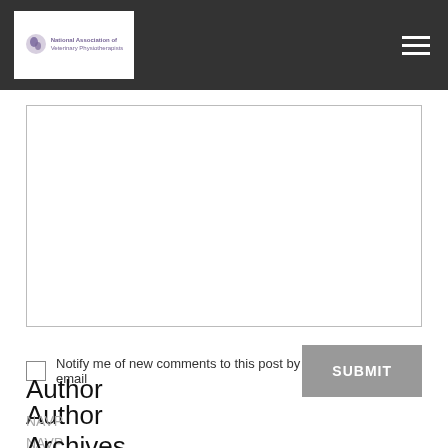National Association of Veterinary Physiotherapists
[Figure (other): Text area / comment input box, empty]
Notify me of new comments to this post by email
SUBMIT
Author
NAVP
Archives
July 2022